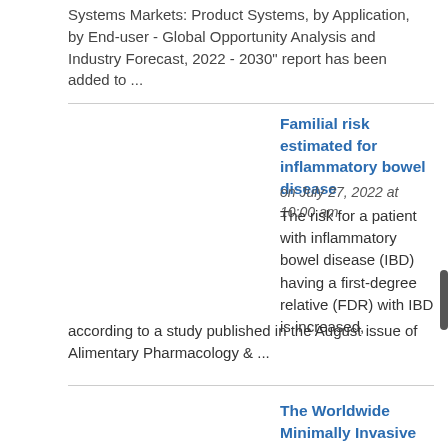Systems Markets: Product Systems, by Application, by End-user - Global Opportunity Analysis and Industry Forecast, 2022 - 2030" report has been added to ...
Familial risk estimated for inflammatory bowel disease
on July 27, 2022 at 10:00 am
The risk for a patient with inflammatory bowel disease (IBD) having a first-degree relative (FDR) with IBD is increased, according to a study published in the August issue of Alimentary Pharmacology & ...
The Worldwide Minimally Invasive Surgical Systems Industry Is Predicted To Reach